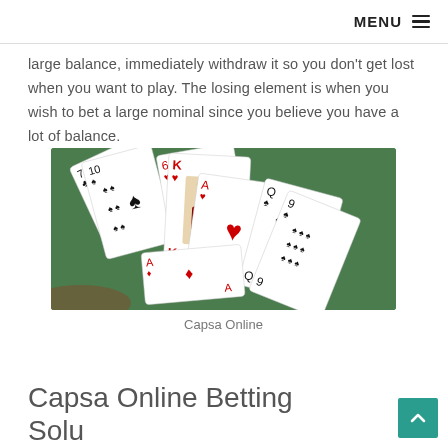MENU ☰
large balance, immediately withdraw it so you don't get lost when you want to play. The losing element is when you wish to bet a large nominal since you believe you have a lot of balance.
[Figure (photo): Playing cards spread on a green felt table surface showing multiple hands of cards including hearts and spades]
Capsa Online
Capsa Online Betting Solu...